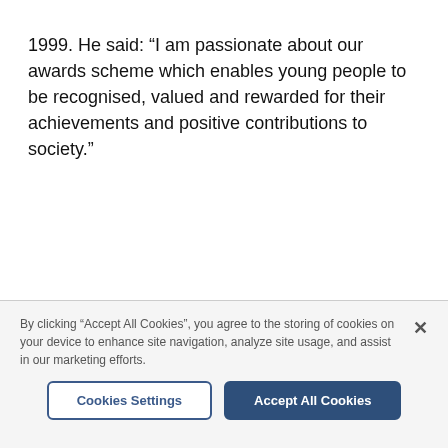1999. He said: “I am passionate about our awards scheme which enables young people to be recognised, valued and rewarded for their achievements and positive contributions to society.”
By clicking “Accept All Cookies”, you agree to the storing of cookies on your device to enhance site navigation, analyze site usage, and assist in our marketing efforts.